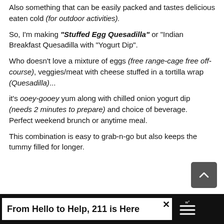Also something that can be easily packed and tastes delicious eaten cold (for outdoor activities).
So, I'm making "Stuffed Egg Quesadilla" or "Indian Breakfast Quesadilla with "Yogurt Dip".
Who doesn't love a mixture of eggs (free range-cage free off-course), veggies/meat with cheese stuffed in a tortilla wrap (Quesadilla)...
it's ooey-gooey yum along with chilled onion yogurt dip (needs 2 minutes to prepare) and choice of beverage. Perfect weekend brunch or anytime meal.
This combination is easy to grab-n-go but also keeps the tummy filled for longer.
[Figure (other): Scroll-to-top button, dark grey rounded square with upward chevron arrow]
From Hello to Help, 211 is Here — advertisement bar at bottom